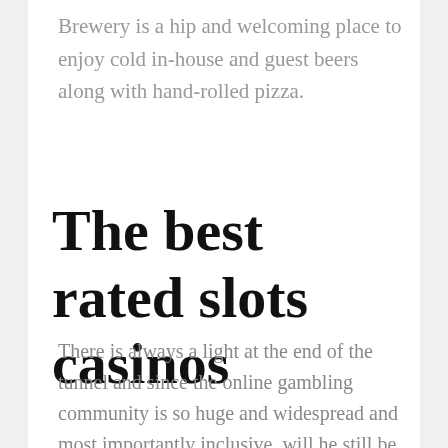Brewery is a hip and welcoming place to enjoy cold in-house and guest beers along with hand-rolled pizza.
The best rated slots casinos
There is always a light at the end of the tunnel and since the online gambling community is so huge and widespread and most importantly inclusive, will he still be able to get a ravenfrost from gambling. Tricks for winning at slots major millions